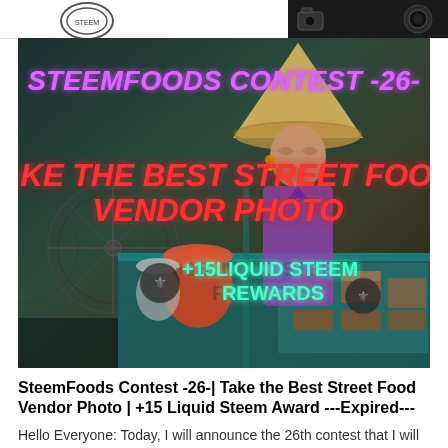[Figure (photo): Contest banner image for SteemFoods Contest -26- showing a Vietnamese street food vendor woman wearing a traditional conical hat, with bicycles in the background and food items on the counter. Text overlays read 'STEEMFOODS CONTEST -26-', 'TAKE THE BEST STREET FOOD VENDOR PHOTO', and '+15LIQUID STEEM REWARDS' with Steem logo icons.]
SteemFoods Contest -26-| Take the Best Street Food Vendor Photo | +15 Liquid Steem Award ---Expired---
Hello Everyone: Today, I will announce the 26th contest that I will organize in the SteemFoods Community. Last...